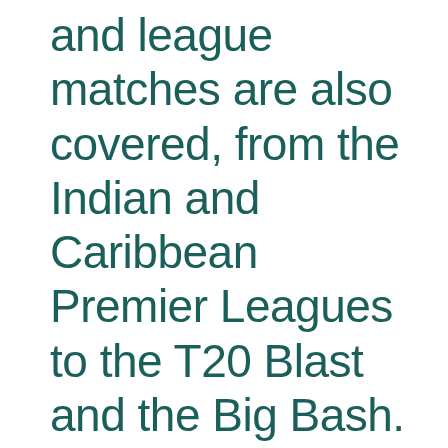and league matches are also covered, from the Indian and Caribbean Premier Leagues to the T20 Blast and the Big Bash. IM SURE BY NEXT MONTH when I provide